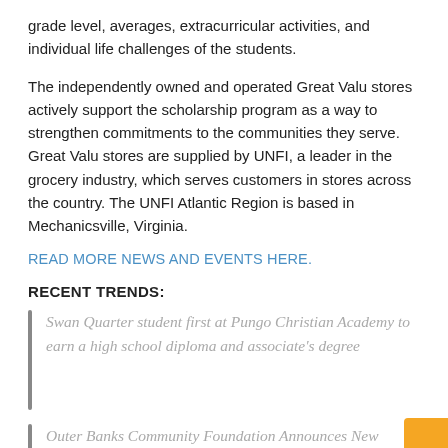grade level, averages, extracurricular activities, and individual life challenges of the students.
The independently owned and operated Great Valu stores actively support the scholarship program as a way to strengthen commitments to the communities they serve. Great Valu stores are supplied by UNFI, a leader in the grocery industry, which serves customers in stores across the country. The UNFI Atlantic Region is based in Mechanicsville, Virginia.
READ MORE NEWS AND EVENTS HERE.
RECENT TRENDS:
Swan Quarter student first at Pungo Christian Academy to earn a high school diploma and associate's degree
Outer Banks Community Foundation Announces New Rotary Club Manteo Sonny Albarty